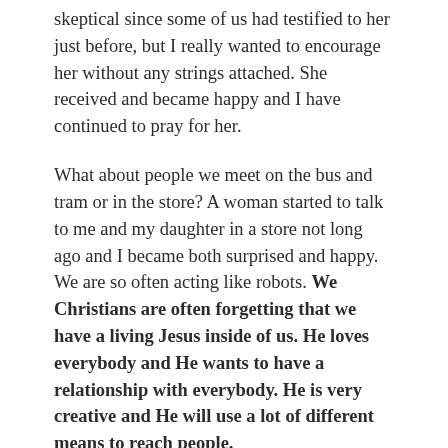skeptical since some of us had testified to her just before, but I really wanted to encourage her without any strings attached. She received and became happy and I have continued to pray for her.
What about people we meet on the bus and tram or in the store? A woman started to talk to me and my daughter in a store not long ago and I became both surprised and happy. We are so often acting like robots. We Christians are often forgetting that we have a living Jesus inside of us. He loves everybody and He wants to have a relationship with everybody. He is very creative and He will use a lot of different means to reach people.
The best thing that we can offer people